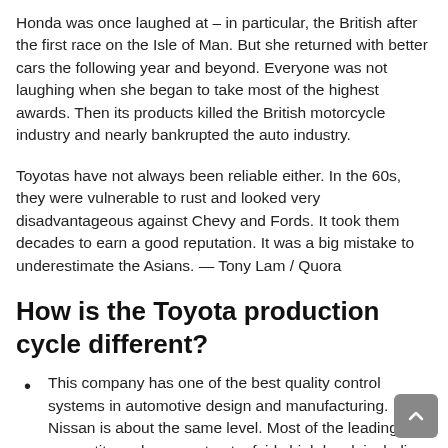Honda was once laughed at – in particular, the British after the first race on the Isle of Man. But she returned with better cars the following year and beyond. Everyone was not laughing when she began to take most of the highest awards. Then its products killed the British motorcycle industry and nearly bankrupted the auto industry.
Toyotas have not always been reliable either. In the 60s, they were vulnerable to rust and looked very disadvantageous against Chevy and Fords. It took them decades to earn a good reputation. It was a big mistake to underestimate the Asians. — Tony Lam / Quora
How is the Toyota production cycle different?
This company has one of the best quality control systems in automotive design and manufacturing. Nissan is about the same level. Most of the leading competitors also operate at a fairly high level, including American, German, British, and French